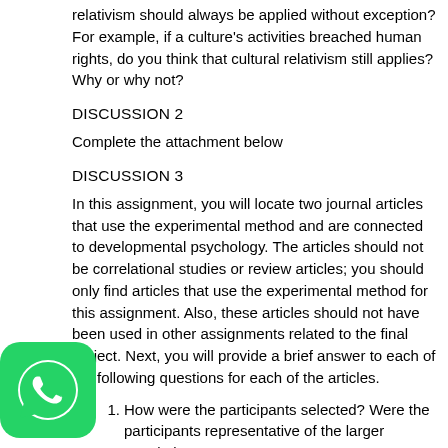relativism should always be applied without exception? For example, if a culture's activities breached human rights, do you think that cultural relativism still applies? Why or why not?
DISCUSSION 2
Complete the attachment below
DISCUSSION 3
In this assignment, you will locate two journal articles that use the experimental method and are connected to developmental psychology. The articles should not be correlational studies or review articles; you should only find articles that use the experimental method for this assignment. Also, these articles should not have been used in other assignments related to the final project. Next, you will provide a brief answer to each of the following questions for each of the articles.
How were the participants selected? Were the participants representative of the larger population?
How were the participants assigned to groups? Did the groups start out the same? Was there any bias in how the